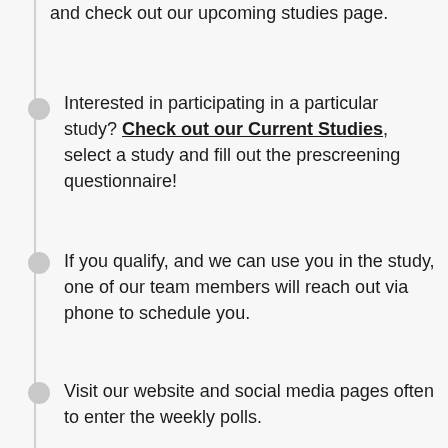and check out our upcoming studies page.
Interested in participating in a particular study? Check out our Current Studies, select a study and fill out the prescreening questionnaire!
If you qualify, and we can use you in the study, one of our team members will reach out via phone to schedule you.
Visit our website and social media pages often to enter the weekly polls.